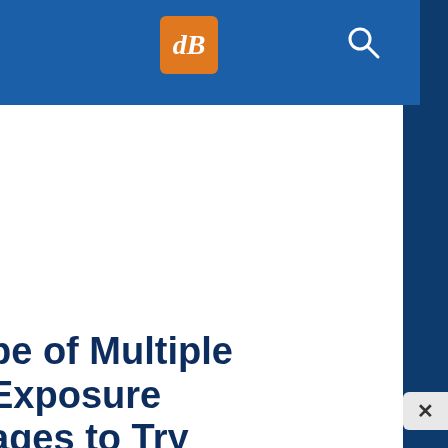[Figure (logo): dPS (Digital Photography School) logo - orange rounded square with white italic 'dB' text, on blue navigation bar]
pe of Multiple Exposure ages to Try
...